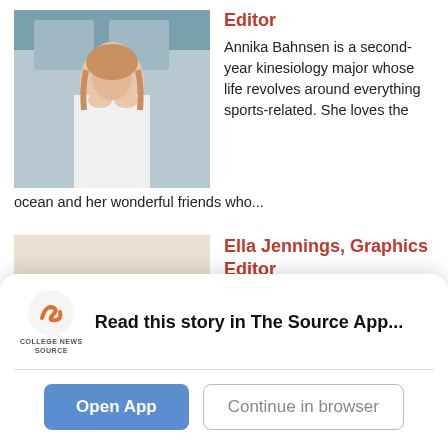[Figure (photo): Photo of Annika Bahnsen, a young woman in a white t-shirt standing outdoors in front of windows]
Editor
Annika Bahnsen is a second-year kinesiology major whose life revolves around everything sports-related. She loves the ocean and her wonderful friends who...
[Figure (photo): Photo of Ella Jennings, a young woman with curly hair smiling indoors]
Ella Jennings, Graphics Editor
Ella Jennings is an art-psychology double major who loves the ocean and is on a lifelong hunt for the strongest
Read this story in The Source App...
Open App
Continue in browser